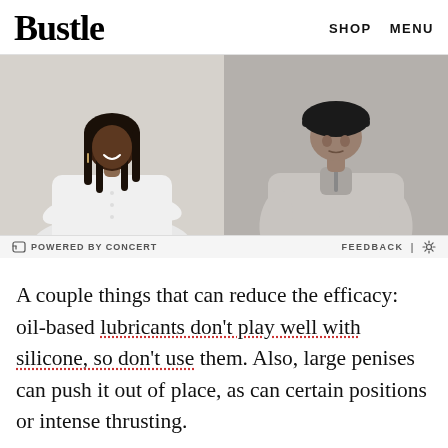Bustle   SHOP   MENU
[Figure (photo): Advertisement image showing two models: left model is a Black woman with long braids wearing a white button-up shirt, smiling; right model wears a grey quarter-zip pullover and black baseball cap. Powered by Concert bar below image with Feedback and gear icon.]
A couple things that can reduce the efficacy: oil-based lubricants don't play well with silicone, so don't use them. Also, large penises can push it out of place, as can certain positions or intense thrusting.